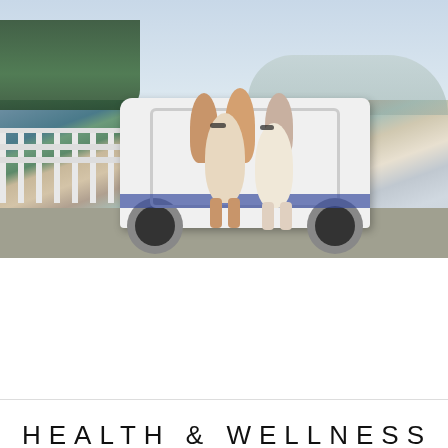[Figure (photo): Group of young women posing at the back of a white van on a road, outdoor sunny day with trees and fence in background]
LIFESTYLE GUIDES, TRAVEL & LEISURE
Tips For Moving Down South
Moving can be a bit overwhelming in general because you're likely moving to a...
BY LOIS PRATT
HEALTH & WELLNESS